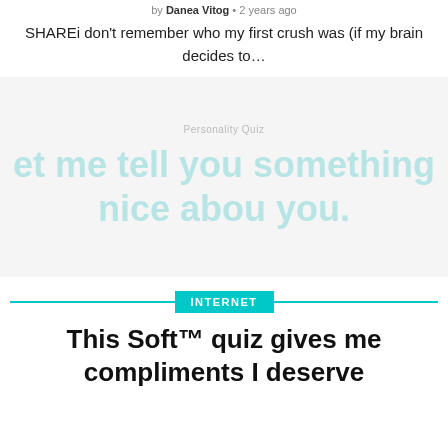by Danea Vitog • 2 years ago
SHAREi don't remember who my first crush was (if my brain decides to…
[Figure (other): Advertisement or quiz promo block with faded teal text reading 'et me tell you something nice about you.' with 'Personality Quiz' label above]
INTERNET
This Soft™ quiz gives me compliments I deserve